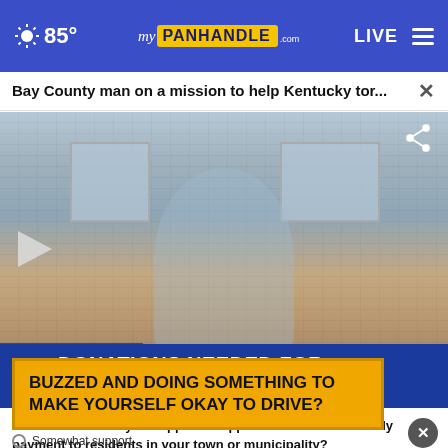85° my PANHANDLE .com LIVE ≡
Bay County man on a mission to help Kentucky tor... ×
[Figure (screenshot): News video still showing a smiling man in a light blue shirt and brown cap, standing in front of a brick building, with a chyron overlay reading 'BAY COUNTY / DONATIONS NEEDED FOR KENTUCKY']
To what extent do you support or oppose a minimum monthly payment to residents in your town or municipality?
BUZZED AND DOING SOMETHING TO MAKE YOURSELF OKAY TO DRIVE?
Somewhat support